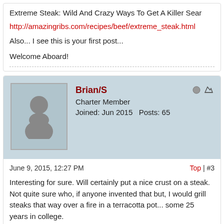Extreme Steak: Wild And Crazy Ways To Get A Killer Sear
http://amazingribs.com/recipes/beef/extreme_steak.html
Also... I see this is your first post...
Welcome Aboard!
Brian/S
Charter Member
Joined: Jun 2015    Posts: 65
June 9, 2015, 12:27 PM
Top | #3
Interesting for sure. Will certainly put a nice crust on a steak. Not quite sure who, if anyone invented that but, I would grill steaks that way over a fire in a terracotta pot... some 25 years in college.